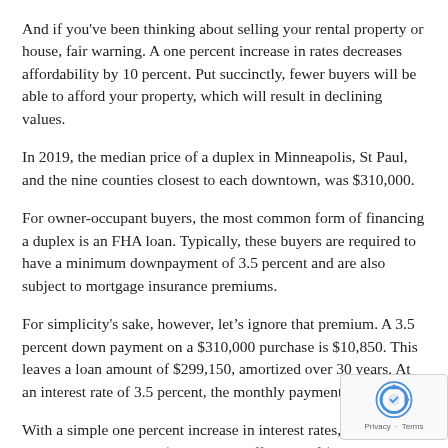And if you've been thinking about selling your rental property or house, fair warning. A one percent increase in rates decreases affordability by 10 percent. Put succinctly, fewer buyers will be able to afford your property, which will result in declining values.
In 2019, the median price of a duplex in Minneapolis, St Paul, and the nine counties closest to each downtown, was $310,000.
For owner-occupant buyers, the most common form of financing a duplex is an FHA loan. Typically, these buyers are required to have a minimum downpayment of 3.5 percent and are also subject to mortgage insurance premiums.
For simplicity's sake, however, let's ignore that premium. A 3.5 percent down payment on a $310,000 purchase is $10,850. This leaves a loan amount of $299,150, amortized over 30 years. At an interest rate of 3.5 percent, the monthly payment of $1343.32.
With a simple one percent increase in interest rates, however, that payment jumps to $1515.75; a difference of $172.43 per month or $2,069.16 per year.